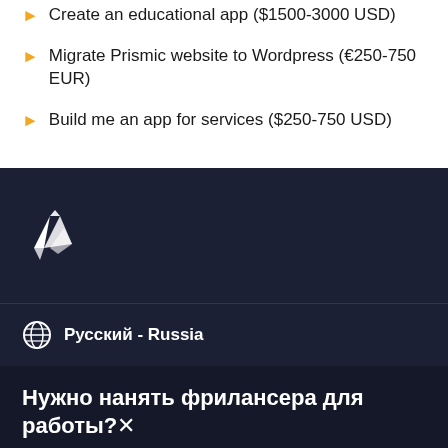Create an educational app ($1500-3000 USD)
Migrate Prismic website to Wordpress (€250-750 EUR)
Build me an app for services ($250-750 USD)
[Figure (logo): White origami hummingbird logo on dark navy background]
Русский - Russia
Нужно нанять фрилансера для работы?✕
Опубликовать проект